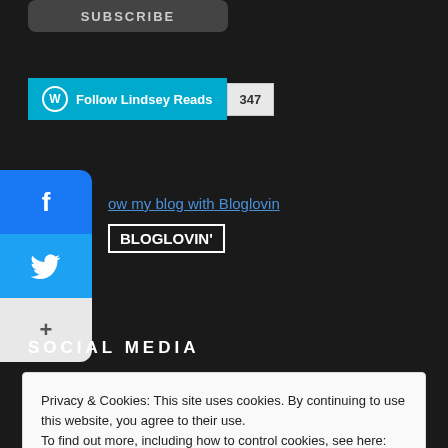[Figure (screenshot): Subscribe button — dark rounded rectangle with 'SUBSCRIBE' text]
[Figure (screenshot): WordPress Follow Lindsey Reads button with follower count 347]
[Figure (screenshot): Social share sidebar with Facebook and Twitter icons and a plus button]
ow my blog with Bloglovin
BLOGLOVIN'
SOCIAL MEDIA
Privacy & Cookies: This site uses cookies. By continuing to use this website, you agree to their use.
To find out more, including how to control cookies, see here: Cookie Policy
Close and accept